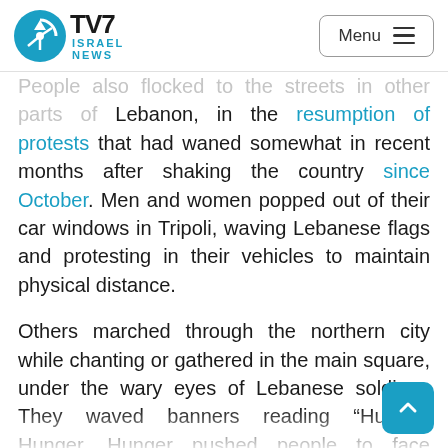TV7 Israel News
People also flocked to the streets in other parts of Lebanon, in the resumption of protests that had waned somewhat in recent months after shaking the country since October. Men and women popped out of their car windows in Tripoli, waving Lebanese flags and protesting in their vehicles to maintain physical distance.

Others marched through the northern city while chanting or gathered in the main square, under the wary eyes of Lebanese soldiers. They waved banners reading “Hunger, Hunger, Hunger pushed people to face coronavirus” or the word “Revolution” printed with the sign of a fist in the background.

Protester Michel Mahfouz said, “We are on the streets here since October 17, the Revolution— and we still